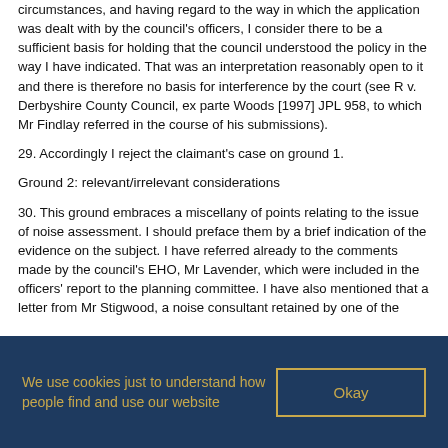circumstances, and having regard to the way in which the application was dealt with by the council's officers, I consider there to be a sufficient basis for holding that the council understood the policy in the way I have indicated. That was an interpretation reasonably open to it and there is therefore no basis for interference by the court (see R v. Derbyshire County Council, ex parte Woods [1997] JPL 958, to which Mr Findlay referred in the course of his submissions).
29. Accordingly I reject the claimant's case on ground 1.
Ground 2: relevant/irrelevant considerations
30. This ground embraces a miscellany of points relating to the issue of noise assessment. I should preface them by a brief indication of the evidence on the subject. I have referred already to the comments made by the council's EHO, Mr Lavender, which were included in the officers' report to the planning committee. I have also mentioned that a letter from Mr Stigwood, a noise consultant retained by one of the
We use cookies just to understand how people find and use our website
Okay